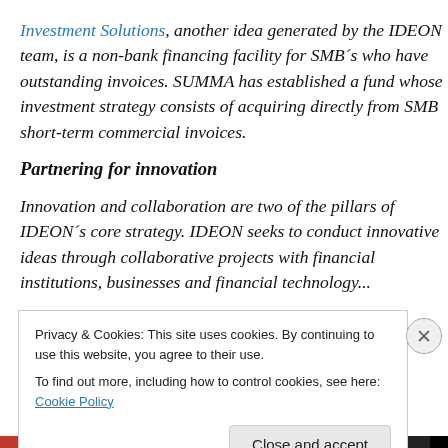Investment Solutions, another idea generated by the IDEON team, is a non-bank financing facility for SMB´s who have outstanding invoices. SUMMA has established a fund whose investment strategy consists of acquiring directly from SMB short-term commercial invoices.
Partnering for innovation
Innovation and collaboration are two of the pillars of IDEON´s core strategy. IDEON seeks to conduct innovative ideas through collaborative projects with financial institutions, businesses and financial technology...
Privacy & Cookies: This site uses cookies. By continuing to use this website, you agree to their use.
To find out more, including how to control cookies, see here: Cookie Policy